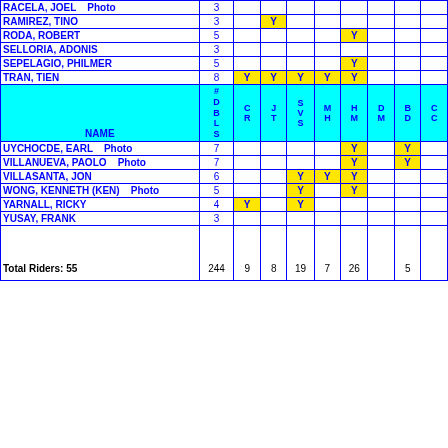| NAME | #DBLS | CR | JT | SVS | MH | HM | DM | BD | CC |
| --- | --- | --- | --- | --- | --- | --- | --- | --- | --- |
| RACELA, JOEL   Photo | 3 |  |  |  |  |  |  |  |  |
| RAMIREZ, TINO | 3 |  | Y |  |  |  |  |  |  |
| RODA, ROBERT | 5 |  |  |  |  | Y |  |  |  |
| SELLORIA, ADONIS | 3 |  |  |  |  |  |  |  |  |
| SEPELAGIO, PHILMER | 5 |  |  |  |  | Y |  |  |  |
| TRAN, TIEN | 8 | Y | Y | Y | Y | Y |  |  |  |
| UYCHOCDE, EARL   Photo | 7 |  |  |  |  | Y |  | Y |  |
| VILLANUEVA, PAOLO   Photo | 7 |  |  |  |  | Y |  | Y |  |
| VILLASANTA, JON | 6 |  |  | Y | Y | Y |  |  |  |
| WONG, KENNETH (KEN)   Photo | 5 |  |  | Y |  | Y |  |  |  |
| YARNALL, RICKY | 4 | Y |  | Y |  |  |  |  |  |
| YUSAY, FRANK | 3 |  |  |  |  |  |  |  |  |
| Total Riders: 55 | 244 | 9 | 8 | 19 | 7 | 26 |  | 5 |  |